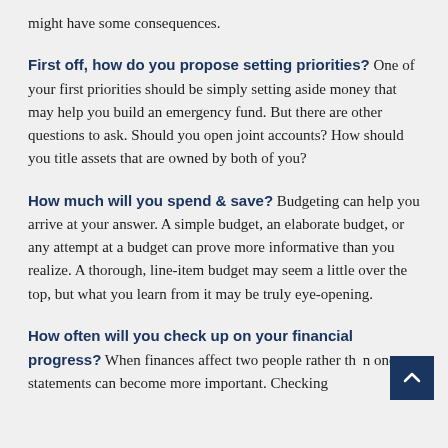might have some consequences.
First off, how do you propose setting priorities? One of your first priorities should be simply setting aside money that may help you build an emergency fund. But there are other questions to ask. Should you open joint accounts? How should you title assets that are owned by both of you?
How much will you spend & save? Budgeting can help you arrive at your answer. A simple budget, an elaborate budget, or any attempt at a budget can prove more informative than you realize. A thorough, line-item budget may seem a little over the top, but what you learn from it may be truly eye-opening.
How often will you check up on your financial progress? When finances affect two people rather than one, statements can become more important. Checking